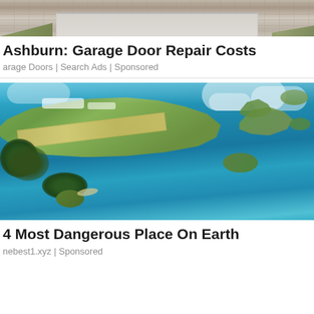[Figure (photo): Aerial or close-up view of a garage door / brick driveway setting, partially cropped at top]
Ashburn: Garage Door Repair Costs
arage Doors | Search Ads | Sponsored
[Figure (photo): Aerial photograph of an island chain surrounded by blue ocean water, with a runway/airstrip visible on the main island and scattered smaller islands and clouds in the background]
4 Most Dangerous Place On Earth
nebest1.xyz | Sponsored